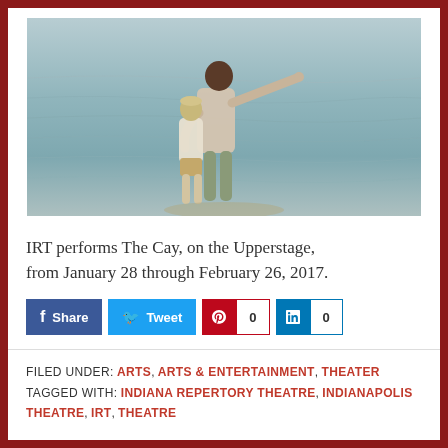[Figure (photo): A tall bald Black man embracing a young blond child from behind, both standing near water, the man pointing into the distance. Scene from a theatrical production of The Cay.]
IRT performs The Cay, on the Upperstage, from January 28 through February 26, 2017.
[Figure (infographic): Social sharing buttons: Share (Facebook, blue), Tweet (Twitter, light blue), Pinterest with count 0 (red), LinkedIn with count 0 (dark blue)]
FILED UNDER: ARTS, ARTS & ENTERTAINMENT, THEATER
TAGGED WITH: INDIANA REPERTORY THEATRE, INDIANAPOLIS THEATRE, IRT, THEATRE